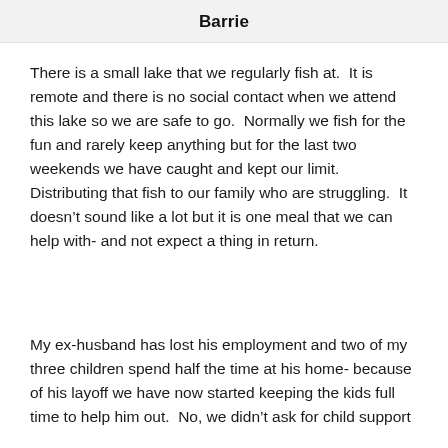Barrie
There is a small lake that we regularly fish at.  It is remote and there is no social contact when we attend this lake so we are safe to go.  Normally we fish for the fun and rarely keep anything but for the last two weekends we have caught and kept our limit.  Distributing that fish to our family who are struggling.  It doesn't sound like a lot but it is one meal that we can help with- and not expect a thing in return.
My ex-husband has lost his employment and two of my three children spend half the time at his home- because of his layoff we have now started keeping the kids full time to help him out.  No, we didn't ask for child support